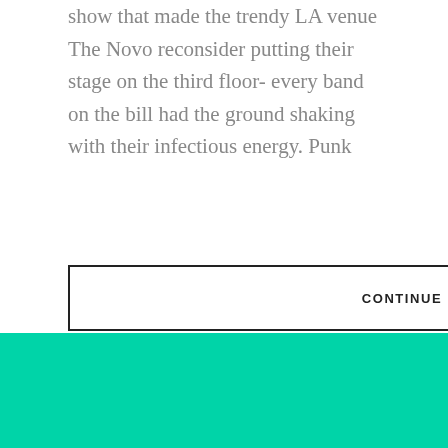show that made the trendy LA venue The Novo reconsider putting their stage on the third floor- every band on the bill had the ground shaking with their infectious energy. Punk
CONTINUE READING
Oxymorrons release